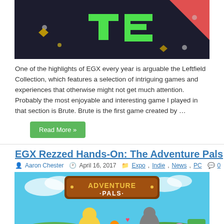[Figure (screenshot): Game banner image with dark background showing green pixelated letters 'TE' and red geometric shape, colorful dots scattered around]
One of the highlights of EGX every year is arguable the Leftfield Collection, which features a selection of intriguing games and experiences that otherwise might not get much attention.  Probably the most enjoyable and interesting game I played in that section is Brute. Brute is the first game created by …
Read More »
EGX Rezzed Hands-On: The Adventure Pals
Aaron Chester   April 16, 2017   Expo, Indie, News, PC   0
[Figure (screenshot): Adventure Pals game screenshot with cyan sky background, colorful cartoon characters and 'Adventure Pals' logo banner at top]